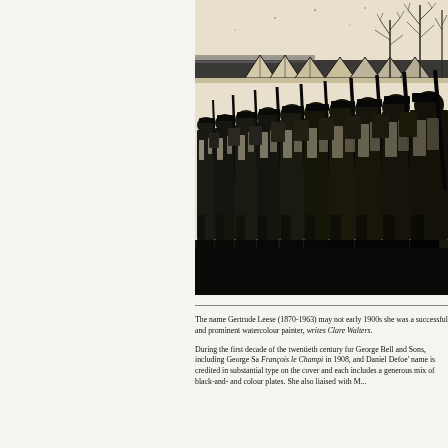[Figure (illustration): Black and white illustration of soldiers marching in formation, carrying rifles, with military tents and bare trees in the background. High contrast ink drawing style.]
The name Gertrude Leese (1870-1963) may not early 1900s she was a successful and prominent watercolour painter, writes Clare Walters.
During the first decade of the twentieth century for George Bell and Sons, including George Sa François le Champi in 1908, and Daniel Defoe' name is credited in substantial type on the cover and each includes a generous mix of black-and- and colour plates. She also liaised with M...